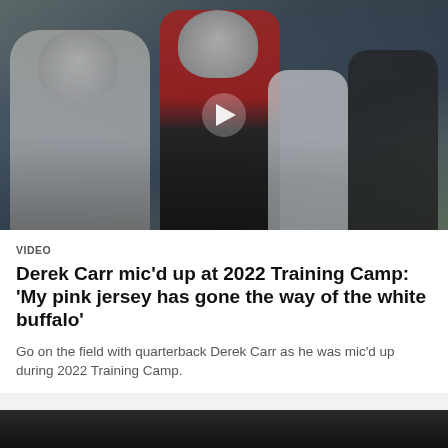[Figure (photo): Football training camp photo showing players including a quarterback in a red jersey at the line of scrimmage, with a video play button overlay in the center]
VIDEO
Derek Carr mic'd up at 2022 Training Camp: 'My pink jersey has gone the way of the white buffalo'
Go on the field with quarterback Derek Carr as he was mic'd up during 2022 Training Camp.